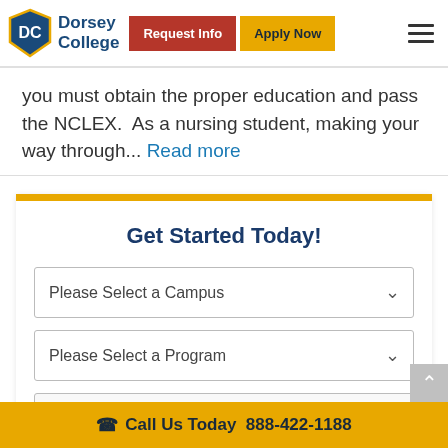Dorsey College | Request Info | Apply Now
you must obtain the proper education and pass the NCLEX.  As a nursing student, making your way through... Read more
Get Started Today!
Please Select a Campus
Please Select a Program
Your First Name
Call Us Today  888-422-1188